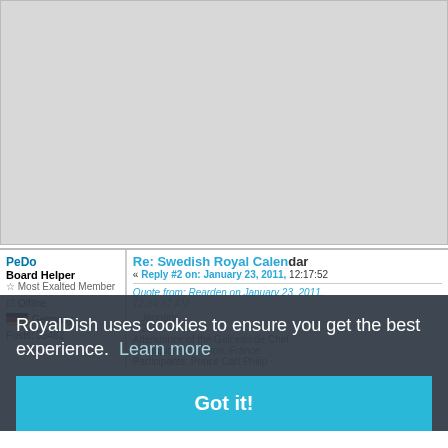[Figure (screenshot): Gray placeholder image area at top of page, representing a forum post image or embedded content area]
PeDo
Board Helper
Most Exalted Member
Re: Swedish Royal Calendar
« Reply #2 on: January 23, 2011, 12:17:52
Quote from: Rearden on January 23, 2011, 12:34:37 AM
...January
...25
Attendance of the Galceau de Chef Championship, Lyon, France
Participants: Prince Carl Philip
Offline
Germany
Posts: 35462
RoyalDish uses cookies to ensure you get the best experience.  Learn more
Got it!